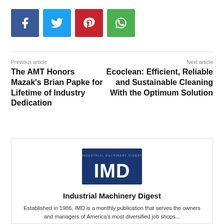[Figure (other): Four social media sharing icons: Facebook (blue), Twitter (light blue), Pinterest (red), WhatsApp (green)]
Previous article
Next article
The AMT Honors Mazak's Brian Papke for Lifetime of Industry Dedication
Ecoclean: Efficient, Reliable and Sustainable Cleaning With the Optimum Solution
[Figure (logo): Industrial Machinery Digest (IMD) logo - dark blue rectangle with large white IMD letters and small text INDUSTRIAL MACHINERY DIGEST above]
Industrial Machinery Digest
Established in 1986, IMD is a monthly publication that serves the owners and managers of America's most diversified job shops...